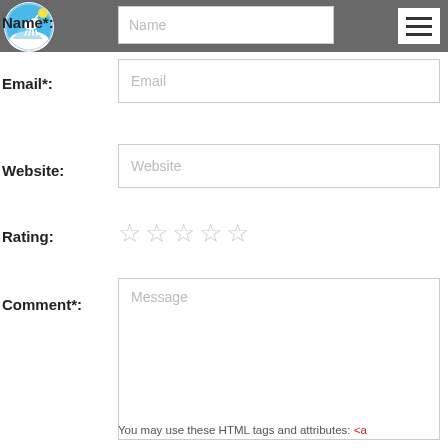[Figure (logo): Circular logo with goat illustration, blue and white colors]
Name*:
Name (placeholder input field)
Email*:
Email (placeholder input field)
Website:
Website (placeholder input field)
Rating:
★★★★★ (5 empty stars)
Comment*:
Message (placeholder textarea)
You may use these HTML tags and attributes: <a